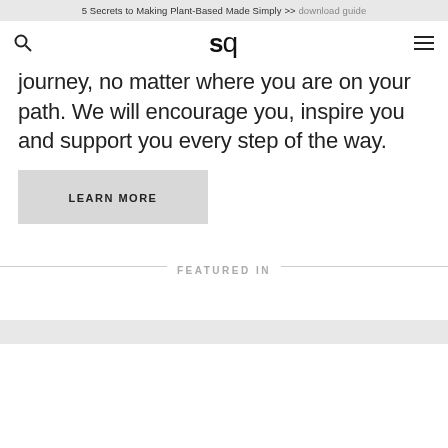5 Secrets to Making Plant-Based Made Simply >> download guide
[Figure (logo): Navigation bar with search icon, 'sq' logo in bold, and hamburger menu icon]
journey, no matter where you are on your path. We will encourage you, inspire you and support you every step of the way.
LEARN MORE
FEATURED IN